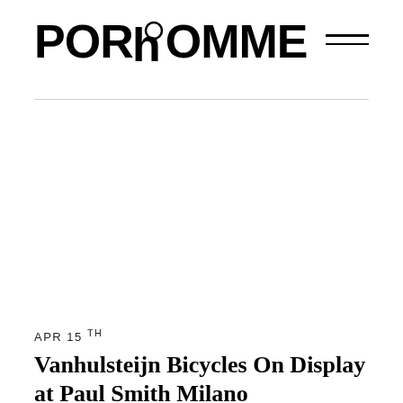PORHOMME
[Figure (other): Blank white image area placeholder for article feature image]
APR 15th
Vanhulsteijn Bicycles On Display at Paul Smith Milano